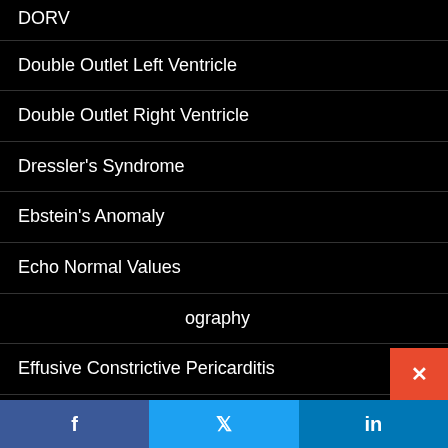DORV
Double Outlet Left Ventricle
Double Outlet Right Ventricle
Dressler's Syndrome
Ebstein's Anomaly
Echo Normal Values
Echocardiography
Effusive Constrictive Pericarditis
Eisenmenger syndrome
Embryology of the Heart
Endocardial Cushion Defect
Endocardial Cushions